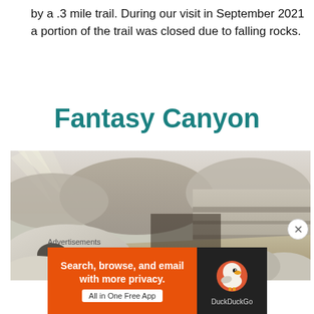by a .3 mile trail. During our visit in September 2021 a portion of the trail was closed due to falling rocks.
Fantasy Canyon
[Figure (photo): Landscape photo of Fantasy Canyon showing eroded white rock formations in the foreground with canyon walls and distant hills under a pale sky.]
Advertisements
[Figure (screenshot): DuckDuckGo advertisement banner: orange left side reading 'Search, browse, and email with more privacy. All in One Free App' and dark right side with DuckDuckGo duck logo and brand name.]